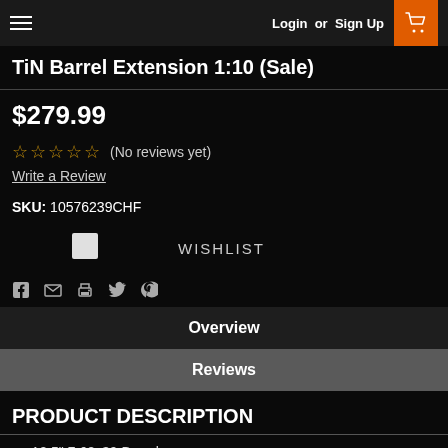Login or Sign Up
TiN Barrel Extension 1:10 (Sale)
$279.99
☆☆☆☆☆ (No reviews yet)
Write a Review
SKU: 10576239CHF
WISHLIST
Social icons: Facebook, Email, Print, Twitter, Pinterest
Overview
Reviews
PRODUCT DESCRIPTION
10.5" 7.62x39 Barrel